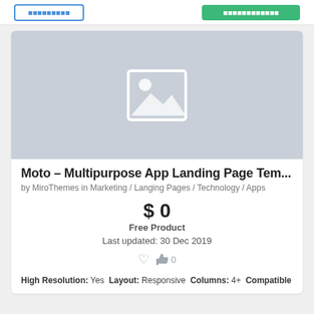[Figure (screenshot): Top navigation bar with an outline blue button on the left and a green button on the right]
[Figure (photo): Placeholder image with a grey background and a white image placeholder icon (mountain/sun)]
Moto – Multipurpose App Landing Page Tem...
by MiroThemes in Marketing / Langing Pages / Technology / Apps
$ 0
Free Product
Last updated: 30 Dec 2019
♥  👍 0
High Resolution: Yes  Layout: Responsive  Columns: 4+  Compatible